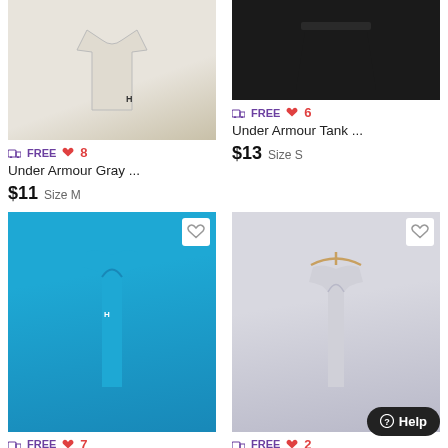[Figure (photo): Under Armour gray shirt product photo]
≡ FREE ♥ 8
Under Armour Gray ...
$11  Size M
[Figure (photo): Under Armour black skirt product photo]
≡ FREE ♥ 6
Under Armour Tank ...
$13  Size S
[Figure (photo): Under Armour blue tank top product photo]
≡ FREE ♥ 7
[Figure (photo): Under Armour gray tank top product photo]
≡ FREE ♥ 2